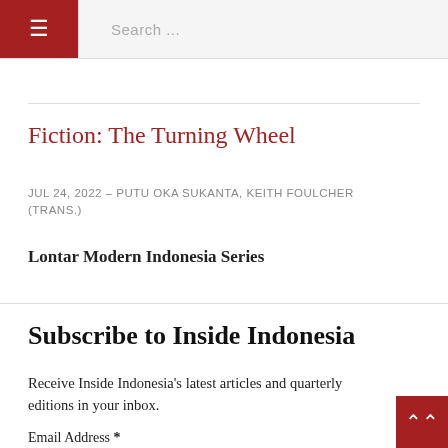≡  Search ...
Fiction: The Turning Wheel
Jul 24, 2022 – PUTU OKA SUKANTA, KEITH FOULCHER (trans.)
Lontar Modern Indonesia Series
Subscribe to Inside Indonesia
Receive Inside Indonesia's latest articles and quarterly editions in your inbox.
Email Address *